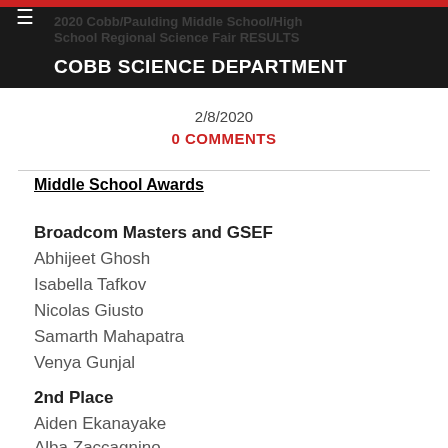COBB SCIENCE DEPARTMENT | 2020 Cobb/Paulding Middle School/High School Regional Science Fair RESULTS
2/8/2020
0 COMMENTS
Middle School Awards
Broadcom Masters and GSEF
Abhijeet Ghosh
Isabella Tafkov
Nicolas Giusto
Samarth Mahapatra
Venya Gunjal
2nd Place
Aiden Ekanayake
Alba Zaccagnino